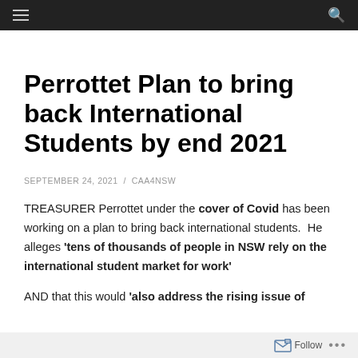Navigation bar with hamburger menu and search icon
Perrottet Plan to bring back International Students by end 2021
SEPTEMBER 24, 2021 / CAA4NSW
TREASURER Perrottet under the cover of Covid has been working on a plan to bring back international students. He alleges 'tens of thousands of people in NSW rely on the international student market for work'
AND that this would 'also address the rising issue of
Follow